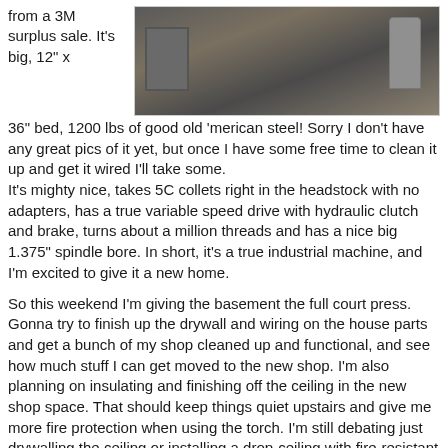from a 3M surplus sale. It's big, 12" x
[Figure (photo): Photo of large industrial lathe machine in a workshop/garage setting, showing metal machinery and equipment in background]
36" bed, 1200 lbs of good old 'merican steel! Sorry I don't have any great pics of it yet, but once I have some free time to clean it up and get it wired I'll take some.
It's mighty nice, takes 5C collets right in the headstock with no adapters, has a true variable speed drive with hydraulic clutch and brake, turns about a million threads and has a nice big 1.375" spindle bore. In short, it's a true industrial machine, and I'm excited to give it a new home.
So this weekend I'm giving the basement the full court press. Gonna try to finish up the drywall and wiring on the house parts and get a bunch of my shop cleaned up and functional, and see how much stuff I can get moved to the new shop. I'm also planning on insulating and finishing off the ceiling in the new shop space. That should keep things quiet upstairs and give me more fire protection when using the torch. I'm still debating just drywalling the ceiling or installing a drop-ceiling with fire-resistant panels.